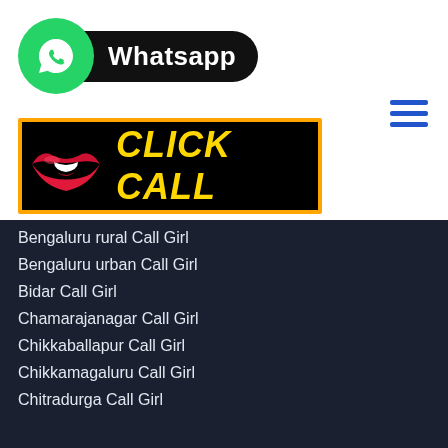[Figure (logo): WhatsApp logo badge with green circle icon and black rounded rectangle label saying Whatsapp]
[Figure (infographic): Black banner with orange border, red lips illustration on left, yellow bold italic text CLICK CALL on right]
Bengaluru rural Call Girl
Bengaluru urban Call Girl
Bidar Call Girl
Chamarajanagar Call Girl
Chikkaballapur Call Girl
Chikkamagaluru Call Girl
Chitradurga Call Girl